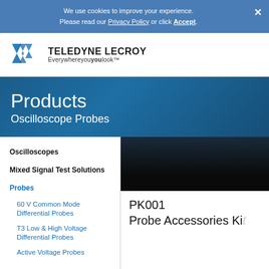We use cookies to improve your experience. Please read our Privacy Policy or click Accept.
[Figure (logo): Teledyne LeCroy logo with stylized arrow/chevron shapes and tagline 'Everywhereyoulook']
Products
Oscilloscope Probes
Oscilloscopes
Mixed Signal Test Solutions
Probes
60 V Common Mode Differential Probes
T3 Low & High Voltage Differential Probes
Active Voltage Probes
[Figure (photo): Dark gradient product image area showing partial probe accessory kit]
PK001
Probe Accessories Ki